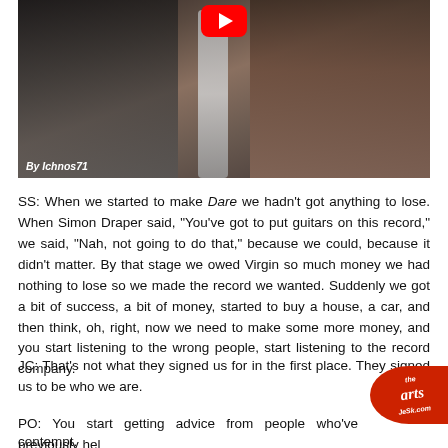[Figure (photo): Video thumbnail screenshot showing two people, one holding a microphone. YouTube play button visible at top center. Watermark 'By Ichnos71' at bottom left.]
SS: When we started to make Dare we hadn't got anything to lose. When Simon Draper said, "You've got to put guitars on this record," we said, "Nah, not going to do that," because we could, because it didn't matter. By that stage we owed Virgin so much money we had nothing to lose so we made the record we wanted. Suddenly we got a bit of success, a bit of money, started to buy a house, a car, and then think, oh, right, now we need to make some more money, and you start listening to the wrong people, start listening to the record company.
JC: That's not what they signed us for in the first place. They signed us to be who we are.
PO: You start getting advice from people who've previously held in contempt.